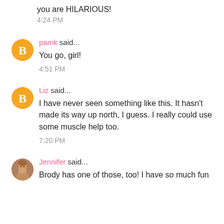you are HILARIOUS!
4:24 PM
pamk said...
You go, girl!
4:51 PM
Liz said...
I have never seen something like this. It hasn't made its way up north, I guess. I really could use some muscle help too.
7:20 PM
Jennifer said...
Brody has one of those, too! I have so much fun